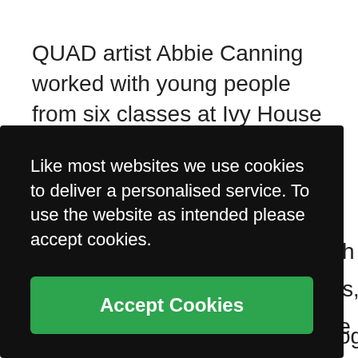QUAD artist Abbie Canning worked with young people from six classes at Ivy House School and with three year 10 classes at St Clare's School to create the visual elements of the films.  At Ivy House, pupils worked with Abbie and their teachers and support staff to create felted backdrops for the films.  The tactile … animated sequences which fit together to
Like most websites we use cookies to deliver a personalised service. To use the website as intended please accept cookies.
Accept Cookies